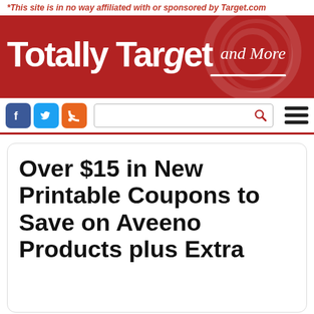*This site is in no way affiliated with or sponsored by Target.com
[Figure (logo): Totally Target and More website logo on red banner background with decorative circle watermark]
[Figure (screenshot): Navigation bar with Facebook, Twitter, RSS social icons, search input box with magnifying glass icon, and hamburger menu icon]
Over $15 in New Printable Coupons to Save on Aveeno Products plus Extra